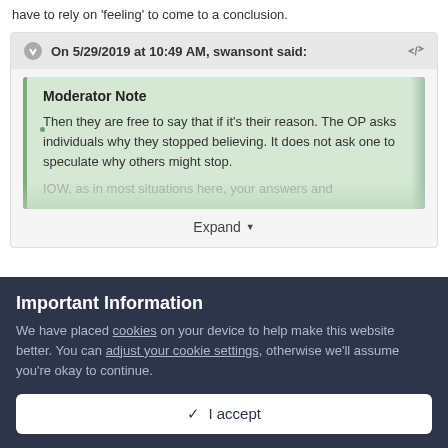have to rely on 'feeling' to come to a conclusion.
On 5/29/2019 at 10:49 AM, swansont said:
Moderator Note
Then they are free to say that if it's their reason. The OP asks individuals why they stopped believing. It does not ask one to speculate why others might stop.
IOW, as in most situations here, your answers and
Expand
Important Information
We have placed cookies on your device to help make this website better. You can adjust your cookie settings, otherwise we'll assume you're okay to continue.
✓ I accept